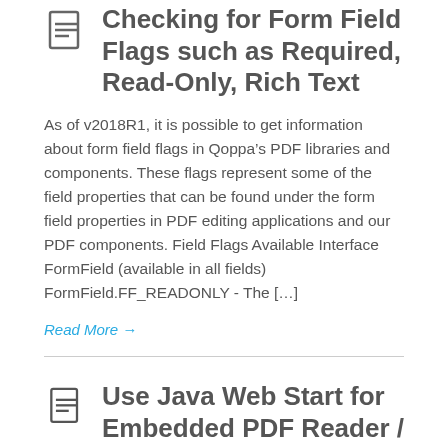Checking for Form Field Flags such as Required, Read-Only, Rich Text
As of v2018R1, it is possible to get information about form field flags in Qoppa’s PDF libraries and components. These flags represent some of the field properties that can be found under the form field properties in PDF editing applications and our PDF components. Field Flags Available Interface FormField (available in all fields) FormField.FF_READONLY – The [...]
Read More →
Use Java Web Start for Embedded PDF Reader / Form